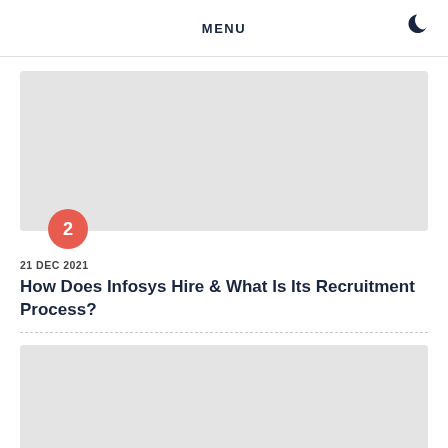MENU
[Figure (illustration): Grey placeholder image card with a red circular badge showing number 2]
21 DEC 2021
How Does Infosys Hire & What Is Its Recruitment Process?
[Figure (illustration): Grey placeholder image card with a red circular badge showing number 3]